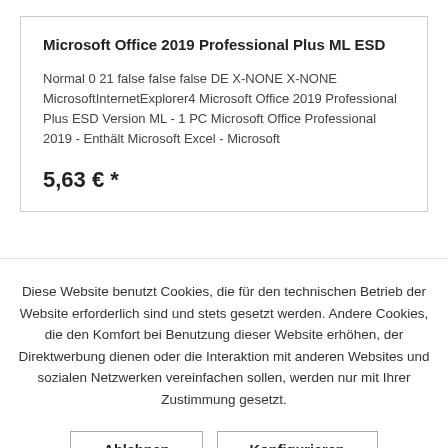Microsoft Office 2019 Professional Plus ML ESD
Normal 0 21 false false false DE X-NONE X-NONE MicrosoftInternetExplorer4 Microsoft Office 2019 Professional Plus ESD Version ML - 1 PC Microsoft Office Professional 2019 - Enthält Microsoft Excel - Microsoft
5,63 € *
Diese Website benutzt Cookies, die für den technischen Betrieb der Website erforderlich sind und stets gesetzt werden. Andere Cookies, die den Komfort bei Benutzung dieser Website erhöhen, der Direktwerbung dienen oder die Interaktion mit anderen Websites und sozialen Netzwerken vereinfachen sollen, werden nur mit Ihrer Zustimmung gesetzt.
Ablehnen
Konfigurieren